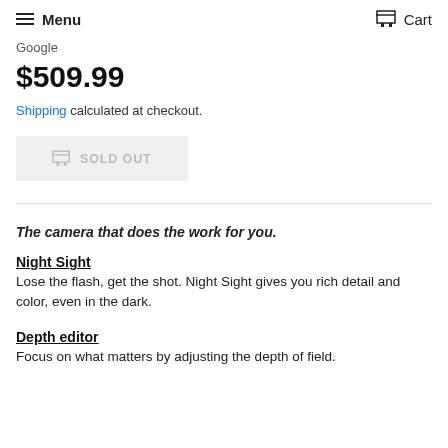Menu   Cart
Google
$509.99
Shipping calculated at checkout.
SOLD OUT
The camera that does the work for you.
Night Sight
Lose the flash, get the shot. Night Sight gives you rich detail and color, even in the dark.
Depth editor
Focus on what matters by adjusting the depth of field.